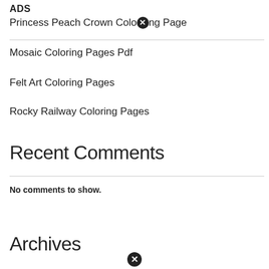ADS
Princess Peach Crown Coloring Page
Mosaic Coloring Pages Pdf
Felt Art Coloring Pages
Rocky Railway Coloring Pages
Recent Comments
No comments to show.
Archives